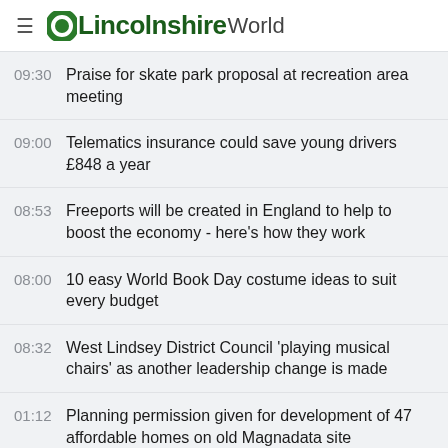OLincolnshireWorld
09:30  Praise for skate park proposal at recreation area meeting
09:00  Telematics insurance could save young drivers £848 a year
08:53  Freeports will be created in England to help to boost the economy - here's how they work
08:00  10 easy World Book Day costume ideas to suit every budget
08:32  West Lindsey District Council 'playing musical chairs' as another leadership change is made
01:12  Planning permission given for development of 47 affordable homes on old Magnadata site
11:45  Ruskington coffee shop bosses' new catering ventures land them a spot on ITV's This Morning show